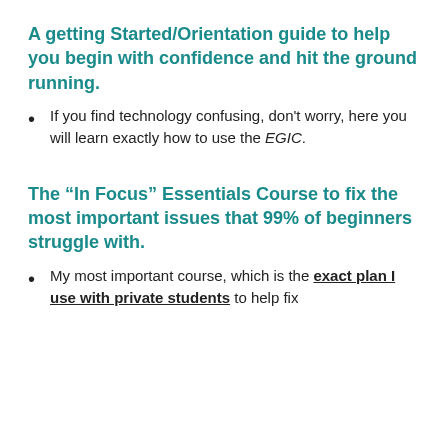A getting Started/Orientation guide to help you begin with confidence and hit the ground running.
If you find technology confusing, don't worry, here you will learn exactly how to use the EGIC.
The “In Focus” Essentials Course to fix the most important issues that 99% of beginners struggle with.
My most important course, which is the exact plan I use with private students to help fix their ba...